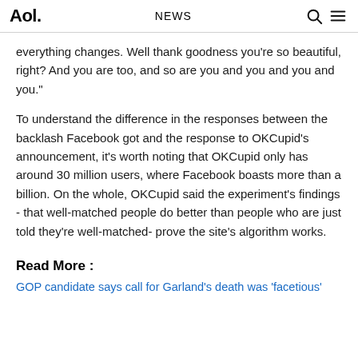Aol. | NEWS
everything changes. Well thank goodness you're so beautiful, right? And you are too, and so are you and you and you and you."
To understand the difference in the responses between the backlash Facebook got and the response to OKCupid's announcement, it's worth noting that OKCupid only has around 30 million users, where Facebook boasts more than a billion. On the whole, OKCupid said the experiment's findings - that well-matched people do better than people who are just told they're well-matched- prove the site's algorithm works.
Read More :
GOP candidate says call for Garland's death was 'facetious'